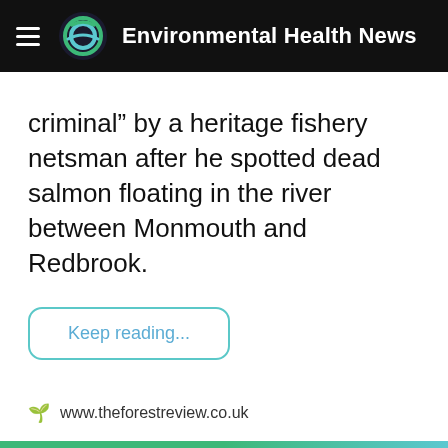Environmental Health News
criminal” by a heritage fishery netsman after he spotted dead salmon floating in the river between Monmouth and Redbrook.
Keep reading...
www.theforestreview.co.uk